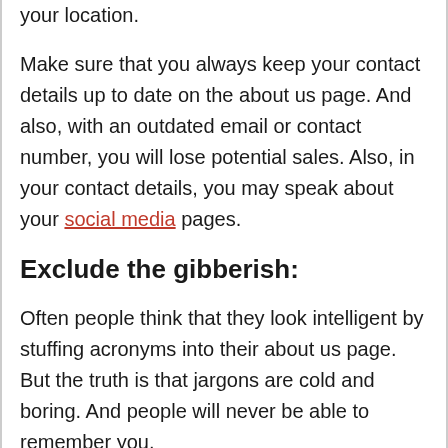your location.
Make sure that you always keep your contact details up to date on the about us page. And also, with an outdated email or contact number, you will lose potential sales. Also, in your contact details, you may speak about your social media pages.
Exclude the gibberish:
Often people think that they look intelligent by stuffing acronyms into their about us page. But the truth is that jargons are cold and boring. And people will never be able to remember you.